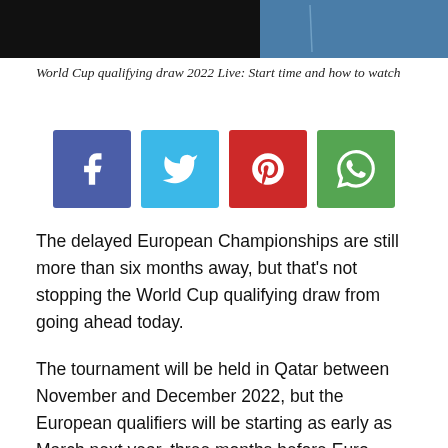[Figure (photo): Top banner image showing a dark/blue background, partial photo]
World Cup qualifying draw 2022 Live: Start time and how to watch
[Figure (infographic): Social share buttons: Facebook (blue), Twitter (light blue), Pinterest (red), WhatsApp (green)]
The delayed European Championships are still more than six months away, but that's not stopping the World Cup qualifying draw from going ahead today.
The tournament will be held in Qatar between November and December 2022, but the European qualifiers will be starting as early as March next year, three months before Euro 2020 finally gets underway.
England will be one of the top teams, meaning they can't play the likes of reigning world champions France, current European champions Portugal, or world number one side